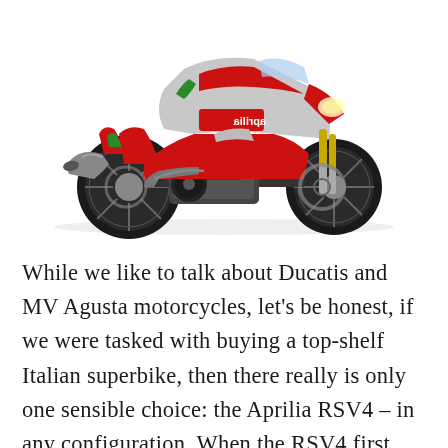[Figure (photo): An Aprilia RSV4 superbike motorcycle in red, silver, and green Italian-flag livery, photographed on a white background at a three-quarter front angle.]
While we like to talk about Ducatis and MV Agusta motorcycles, let's be honest, if we were tasked with buying a top-shelf Italian superbike, then there really is only one sensible choice: the Aprilia RSV4 – in any configuration. When the RSV4 first rolled onto the scene in 2009, it was the